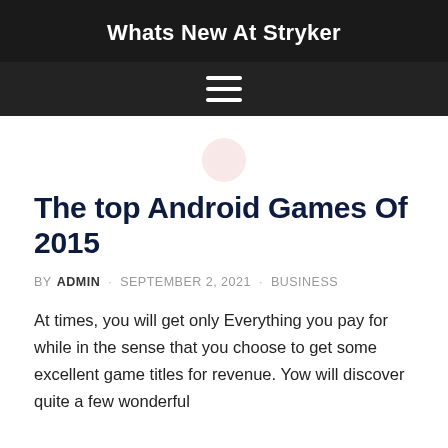Whats New At Stryker
[Figure (other): Hamburger menu icon (three horizontal white lines on dark background)]
The top Android Games Of 2015
BY ADMIN · SEPTEMBER 2, 2021 · BUSINESS
At times, you will get only Everything you pay for while in the sense that you choose to get some excellent game titles for revenue. Yow will discover quite a few wonderful